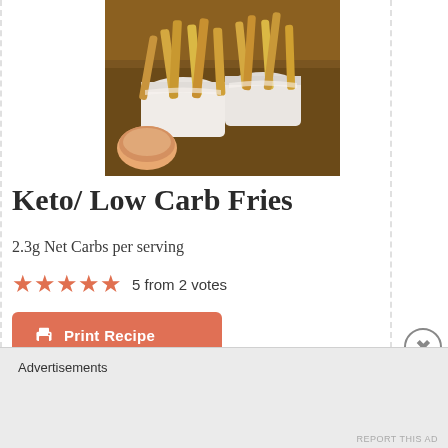[Figure (photo): Photo of keto low carb fries served in white baskets with a dipping sauce bowl on a wooden board]
Keto/ Low Carb Fries
2.3g Net Carbs per serving
5 from 2 votes
Print Recipe
Advertisements